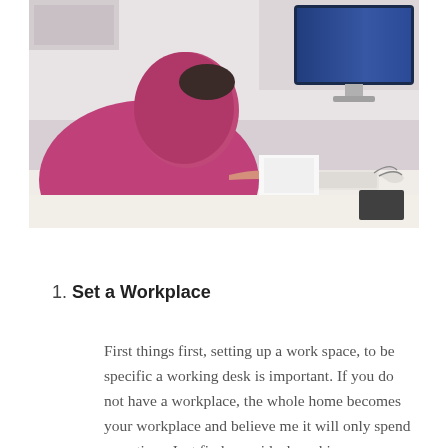[Figure (photo): A person wearing a pink/magenta hoodie sitting at a white desk, typing on an Apple keyboard in front of an iMac computer. The photo is taken from behind/side angle. The desk has various items including papers, a notebook, and cables.]
1. Set a Workplace
First things first, setting up a work space, to be specific a working desk is important. If you do not have a workplace, the whole home becomes your workplace and believe me it will only spend your time. Just find your ideal working corner, set up a desk and chair, close